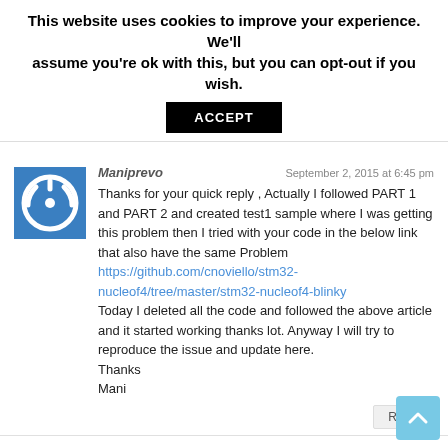This website uses cookies to improve your experience. We'll assume you're ok with this, but you can opt-out if you wish.
ACCEPT
Maniprevo
September 2, 2015 at 6:45 pm
Thanks for your quick reply , Actually I followed PART 1 and PART 2 and created test1 sample where I was getting this problem then I tried with your code in the below link that also have the same Problem
https://github.com/cnoviello/stm32-nucleof4/tree/master/stm32-nucleof4-blinky
Today I deleted all the code and followed the above article and it started working thanks lot. Anyway I will try to reproduce the issue and update here.
Thanks
Mani
Reply
Brett Nicholas
October 29, 2015 at 1:35 am
Hi Carmine,

First of all, thanks for such an excellent and thorough tutorial.